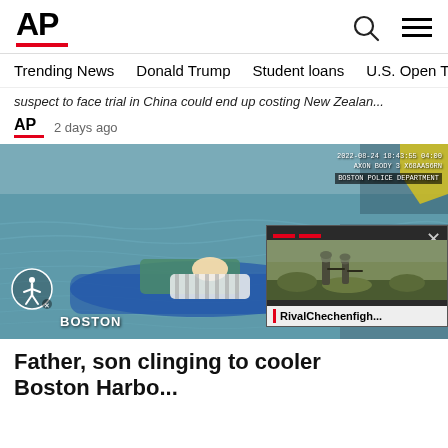[Figure (logo): AP Associated Press logo with red underline bar]
Trending News   Donald Trump   Student loans   U.S. Open Tenn
suspect to face trial in China could end up costing New Zealan...
[Figure (logo): Small AP logo with red underline]
2 days ago
[Figure (photo): Body camera footage from Boston Police Department dated 2022-08-24 18:43:55 showing a person clinging to what appears to be a cooler in water, viewed from a boat. A video thumbnail overlay in the bottom right shows soldiers in a field with the label 'RivalChechenfigh...' An accessibility icon and 'BOSTON' text label appear in the lower left.]
Father, son clinging to cooler rescued in Boston Harbor